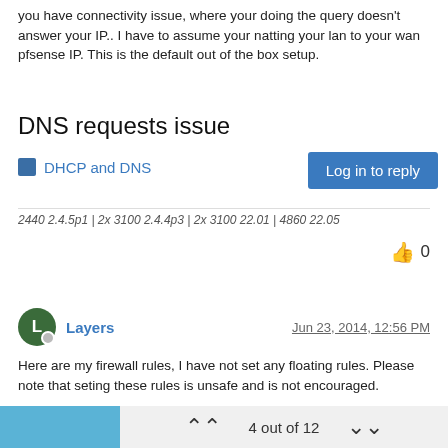you have connectivity issue, where your doing the query doesn't answer your IP..  I have to assume your natting your lan to your wan pfsense IP.  This is the default out of the box setup.
DNS requests issue
DHCP and DNS
Log in to reply
2440 2.4.5p1 | 2x 3100 2.4.4p3 | 2x 3100 22.01 | 4860 22.05
👍 0
Layers   Jun 23, 2014, 12:56 PM
Here are my firewall rules, I have not set any floating rules. Please note that seting these rules is unsafe and is not encouraged.

the screenshots of my firewall rules are here:
http://i.imgur.com/R4erV1c.png
http://i.imgur.com/cehbD36.png
4 out of 12